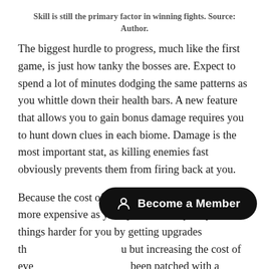Skill is still the primary factor in winning fights. Source: Author.
The biggest hurdle to progress, much like the first game, is just how tanky the bosses are. Expect to spend a lot of minutes dodging the same patterns as you whittle down their health bars. A new feature that allows you to gain bonus damage requires you to hunt down clues in each biome. Damage is the most important stat, as killing enemies fast obviously prevents them from firing back at you.
Because the cost of all upgrades gets progressively more expensive as you spend, it’s very easy to make things harder for you by getting upgrades th…u but increasing the cost of eve… been patched with a recommended upgrade path). For